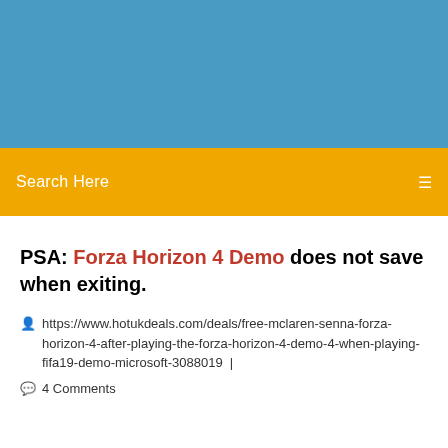[Figure (other): Blue banner header background]
Search Here
PSA: Forza Horizon 4 Demo does not save when exiting.
https://www.hotukdeals.com/deals/free-mclaren-senna-forza-horizon-4-after-playing-the-forza-horizon-4-demo-4-when-playing-fifa19-demo-microsoft-3088019  |  4 Comments